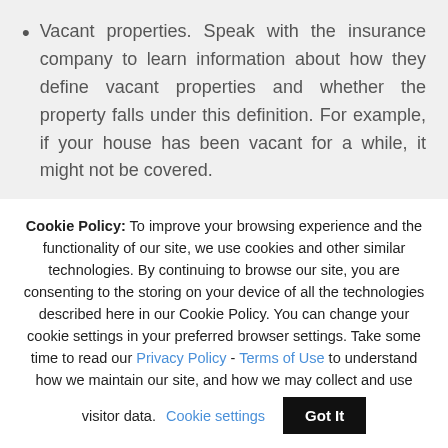Vacant properties. Speak with the insurance company to learn information about how they define vacant properties and whether the property falls under this definition. For example, if your house has been vacant for a while, it might not be covered.
Cookie Policy: To improve your browsing experience and the functionality of our site, we use cookies and other similar technologies. By continuing to browse our site, you are consenting to the storing on your device of all the technologies described here in our Cookie Policy. You can change your cookie settings in your preferred browser settings. Take some time to read our Privacy Policy - Terms of Use to understand how we maintain our site, and how we may collect and use visitor data.